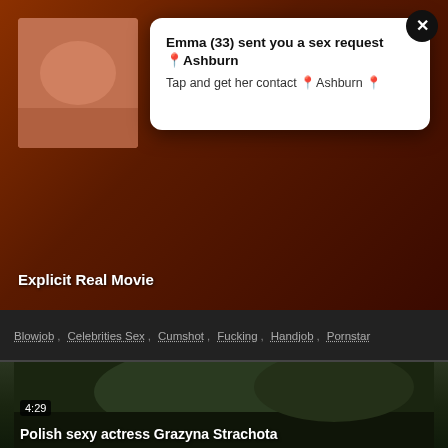[Figure (screenshot): Video thumbnail showing explicit content, partially obscured by popup notification overlay]
Emma (33) sent you a sex request📍Ashburn
Tap and get her contact 📍Ashburn 📍
Explicit Real Movie
Blowjob ,  Celebrities Sex ,  Cumshot ,  Fucking ,  Handjob ,  Pornstar
[Figure (screenshot): Movie still showing Polish actress Grazyna Strachota outdoors with another person, duration 4:29]
Polish sexy actress Grazyna Strachota